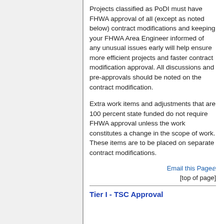Projects classified as PoDI must have FHWA approval of all (except as noted below) contract modifications and keeping your FHWA Area Engineer informed of any unusual issues early will help ensure more efficient projects and faster contract modification approval. All discussions and pre-approvals should be noted on the contract modification.
Extra work items and adjustments that are 100 percent state funded do not require FHWA approval unless the work constitutes a change in the scope of work. These items are to be placed on separate contract modifications.
Email this Page [external link]
[top of page]
Tier I - TSC Approval